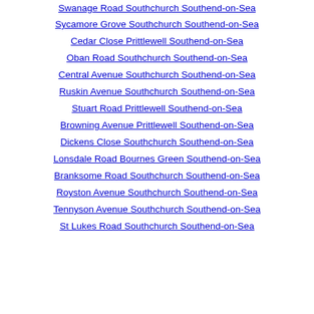Swanage Road Southchurch Southend-on-Sea
Sycamore Grove Southchurch Southend-on-Sea
Cedar Close Prittlewell Southend-on-Sea
Oban Road Southchurch Southend-on-Sea
Central Avenue Southchurch Southend-on-Sea
Ruskin Avenue Southchurch Southend-on-Sea
Stuart Road Prittlewell Southend-on-Sea
Browning Avenue Prittlewell Southend-on-Sea
Dickens Close Southchurch Southend-on-Sea
Lonsdale Road Bournes Green Southend-on-Sea
Branksome Road Southchurch Southend-on-Sea
Royston Avenue Southchurch Southend-on-Sea
Tennyson Avenue Southchurch Southend-on-Sea
St Lukes Road Southchurch Southend-on-Sea